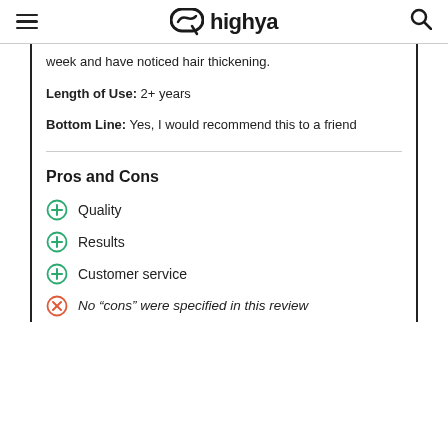highya
week and have noticed hair thickening.
Length of Use: 2+ years
Bottom Line: Yes, I would recommend this to a friend
Pros and Cons
Quality
Results
Customer service
No “cons” were specified in this review